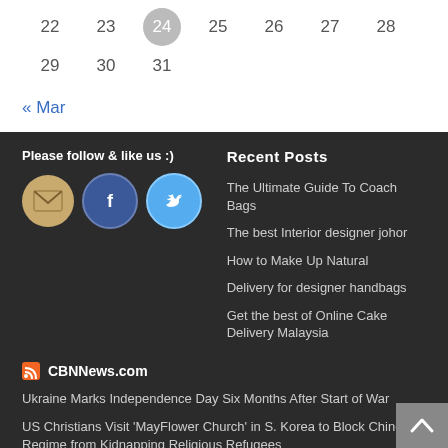22  23  24  25  26  27  28
29  30  31
« Mar
Please follow & like us :)
[Figure (illustration): Social media icons: email, Facebook, Twitter]
Recent Posts
The Ultimate Guide To Coach Bags
The best Interior designer johor
How to Make Up Natural
Delivery for designer handbags
Get the best of Online Cake Delivery Malaysia
CBNNews.com
Ukraine Marks Independence Day Six Months After Start of War
US Christians Visit 'MayFlower Church' in S. Korea to Block Chinese Regime from Kidnapping Religious Refugees